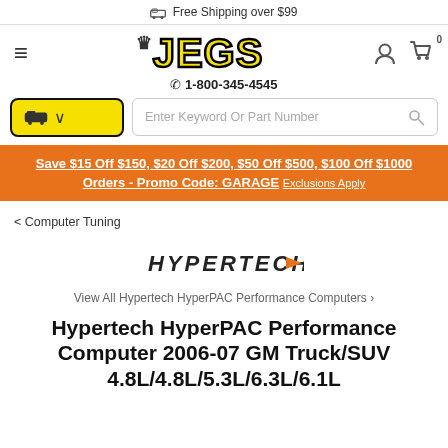Free Shipping over $99
[Figure (logo): JEGS logo in yellow block letters with crown icon and black outline]
1-800-345-4545
Save $15 Off $150, $20 Off $200, $50 Off $500, $100 Off $1000 Orders - Promo Code: GARAGE Exclusions Apply
< Computer Tuning
[Figure (logo): Hypertech logo in bold uppercase letters with orange arrow accent]
View All Hypertech HyperPAC Performance Computers >
Hypertech HyperPAC Performance Computer 2006-07 GM Truck/SUV 4.8L/4.8L/5.3L/6.3L/6.1L